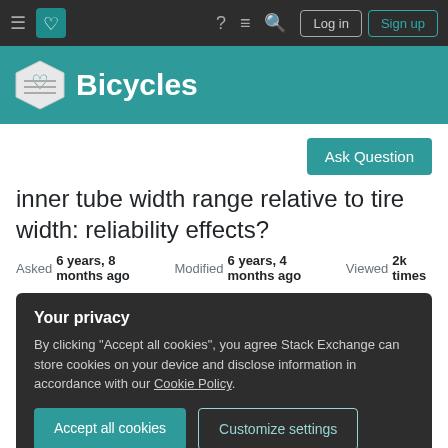Bicycles Stack Exchange navigation bar with Log in and Sign up buttons
[Figure (logo): Bicycles Stack Exchange logo with teal background showing a book/heart icon and white bold text 'Bicycles']
Ask Question
inner tube width range relative to tire width: reliability effects?
Asked 6 years, 8 months ago   Modified 6 years, 4 months ago   Viewed 2k times
Your privacy
By clicking "Accept all cookies", you agree Stack Exchange can store cookies on your device and disclose information in accordance with our Cookie Policy.
Accept all cookies   Customize settings
question